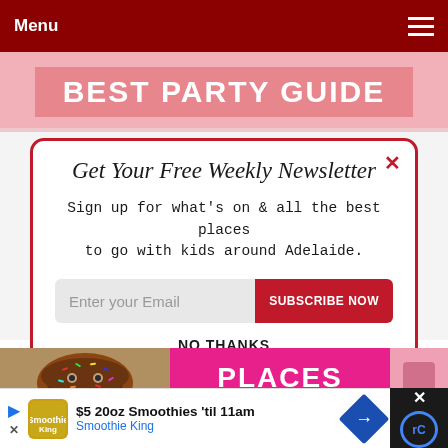Menu
BEST PARTY GUIDE
Get Your Free Weekly Newsletter
Sign up for what's on & all the best places to go with kids around Adelaide.
Enter your Email  SUBSCRIBE NOW
NO THANKS
[Figure (photo): Child holding a large chocolate donut with sprinkles]
PLACES
$5 20oz Smoothies 'til 11am  Smoothie King